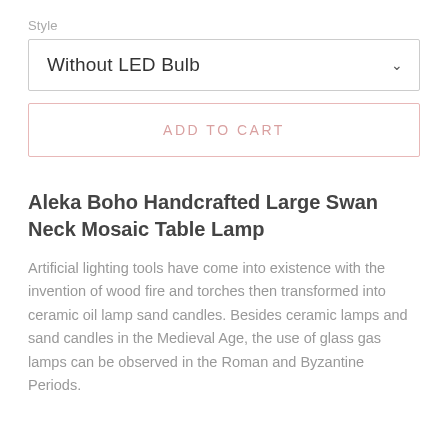Style
Without LED Bulb
ADD TO CART
Aleka Boho Handcrafted Large Swan Neck Mosaic Table Lamp
Artificial lighting tools have come into existence with the invention of wood fire and torches then transformed into ceramic oil lamp sand candles. Besides ceramic lamps and sand candles in the Medieval Age, the use of glass gas lamps can be observed in the Roman and Byzantine Periods.